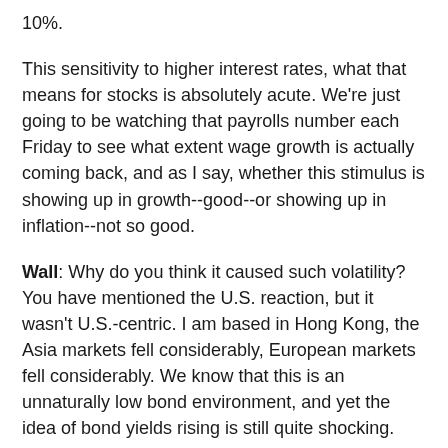10%.
This sensitivity to higher interest rates, what that means for stocks is absolutely acute. We're just going to be watching that payrolls number each Friday to see what extent wage growth is actually coming back, and as I say, whether this stimulus is showing up in growth--good--or showing up in inflation--not so good.
Wall: Why do you think it caused such volatility? You have mentioned the U.S. reaction, but it wasn't U.S.-centric. I am based in Hong Kong, the Asia markets fell considerably, European markets fell considerably. We know that this is an unnaturally low bond environment, and yet the idea of bond yields rising is still quite shocking.
Ward: You are right. There is this, I think, a gut feeling in many investors' minds that when the central banks were